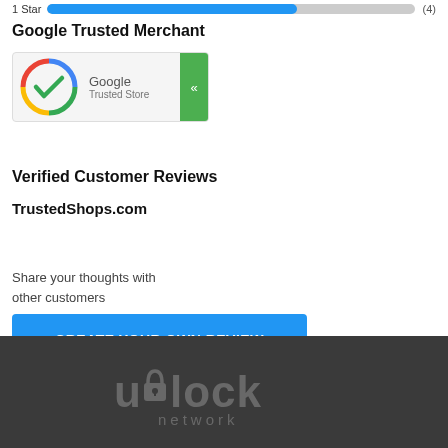1 Star (4)
Google Trusted Merchant
[Figure (logo): Google Trusted Store badge with Google logo checkmark and green arrow button]
Verified Customer Reviews
TrustedShops.com
Share your thoughts with other customers
CREATE YOUR OWN REVIEW
[Figure (logo): Unlock Network logo in gray text on dark background]